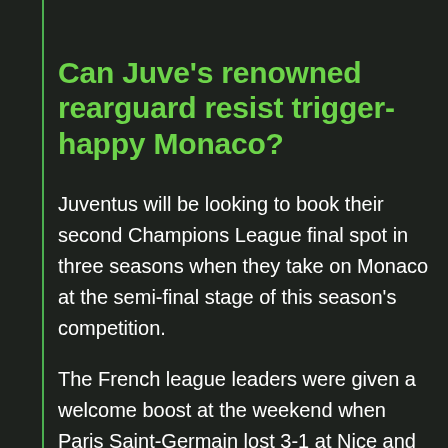Can Juve's renowned rearguard resist trigger-happy Monaco?
Juventus will be looking to book their second Champions League final spot in three seasons when they take on Monaco at the semi-final stage of this season's competition.
The French league leaders were given a welcome boost at the weekend when Paris Saint-Germain lost 3-1 at Nice and they now have a 3 point cushion at the top of